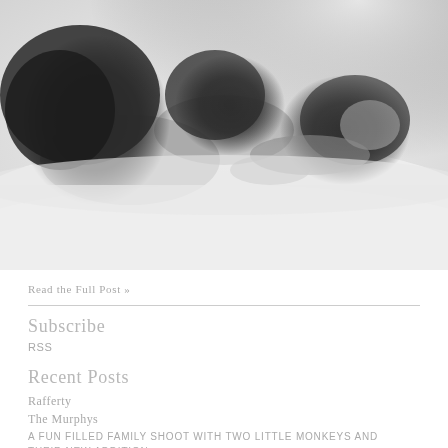[Figure (photo): Black and white photograph of a mother and child lying on white bedding, with a newborn baby between them. The image is softly lit and intimate.]
Read the Full Post »
Subscribe
RSS
Recent Posts
Rafferty
The Murphys
A fun filled family shoot with two little monkeys and their new addition.